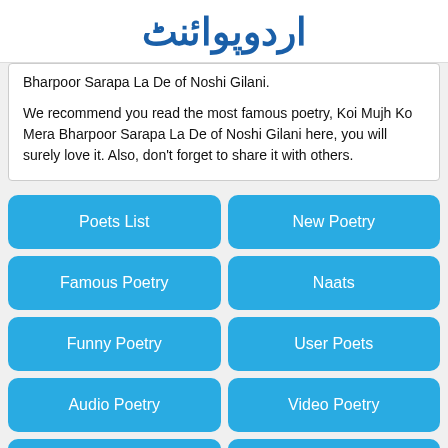اردوپوائنٹ
Bharpoor Sarapa La De of Noshi Gilani.
We recommend you read the most famous poetry, Koi Mujh Ko Mera Bharpoor Sarapa La De of Noshi Gilani here, you will surely love it. Also, don't forget to share it with others.
Poets List
New Poetry
Famous Poetry
Naats
Funny Poetry
User Poets
Audio Poetry
Video Poetry